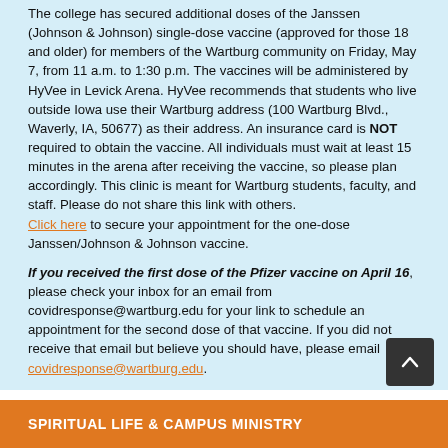The college has secured additional doses of the Janssen (Johnson & Johnson) single-dose vaccine (approved for those 18 and older) for members of the Wartburg community on Friday, May 7, from 11 a.m. to 1:30 p.m. The vaccines will be administered by HyVee in Levick Arena. HyVee recommends that students who live outside Iowa use their Wartburg address (100 Wartburg Blvd., Waverly, IA, 50677) as their address. An insurance card is NOT required to obtain the vaccine. All individuals must wait at least 15 minutes in the arena after receiving the vaccine, so please plan accordingly. This clinic is meant for Wartburg students, faculty, and staff. Please do not share this link with others. Click here to secure your appointment for the one-dose Janssen/Johnson & Johnson vaccine.
If you received the first dose of the Pfizer vaccine on April 16, please check your inbox for an email from covidresponse@wartburg.edu for your link to schedule an appointment for the second dose of that vaccine. If you did not receive that email but believe you should have, please email covidresponse@wartburg.edu.
SPIRITUAL LIFE & CAMPUS MINISTRY